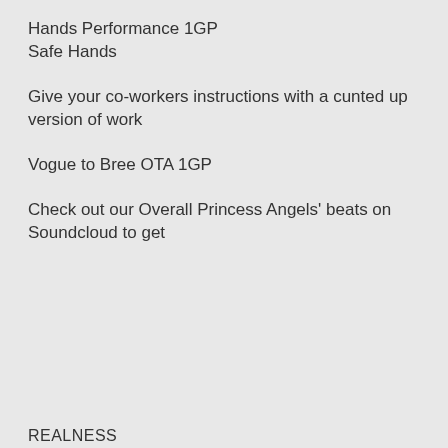Hands Performance 1GP
Safe Hands
Give your co-workers instructions with a cunted up version of work
Vogue to Bree OTA 1GP
Check out our Overall Princess Angels' beats on Soundcloud to get
REALNESS
Schoolboy/girl Realness 2GP